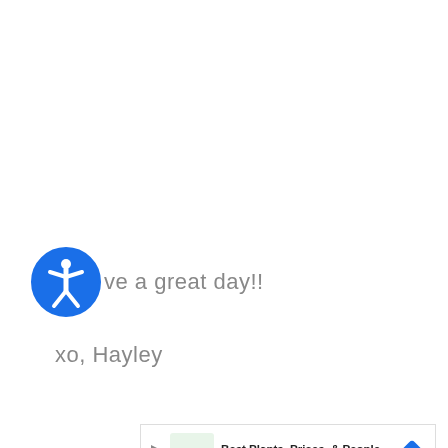Have a great day!!
xo, Hayley
[Figure (other): PrintFriendly green button with printer icon]
[Figure (other): Advertisement banner: Best Plants, Prices, & People – Meadows Farms Nurseries and Landsca...]